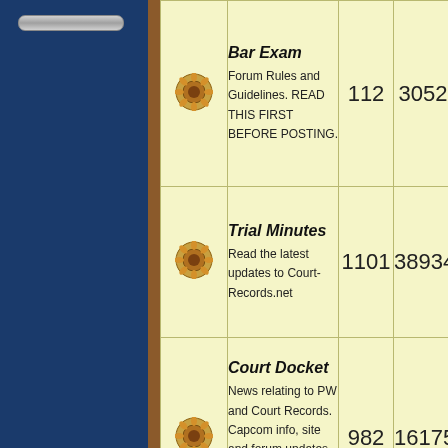| Icon | Forum | Topics | Posts | Last Post |
| --- | --- | --- | --- | --- |
| [icon] | Bar Exam
Forum Rules and Guidelines. READ THIS FIRST BEFORE POSTING. | 112 | 3052 |  |
| [icon] | Trial Minutes
Read the latest updates to Court-Records.net | 1101 | 38934 | Gya... |
| [icon] | Court Docket
News relating to PW and Court Records. Capcom info, site and forum updates, questions and suggestions for Court Records. | 982 | 16175 | 202... |